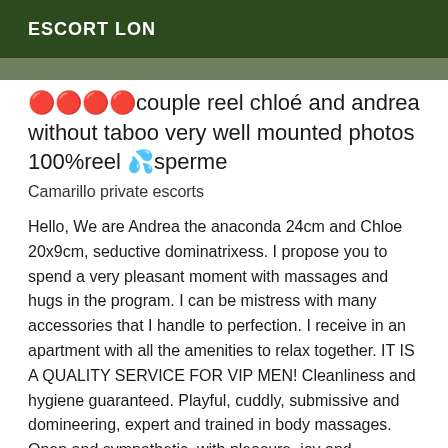ESCORT LON
🔴🔴🔴🔴couple reel chloé and andrea without taboo very well mounted photos 100%reel 💦sperme
Camarillo private escorts
Hello, We are Andrea the anaconda 24cm and Chloe 20x9cm, seductive dominatrixess. I propose you to spend a very pleasant moment with massages and hugs in the program. I can be mistress with many accessories that I handle to perfection. I receive in an apartment with all the amenities to relax together. IT IS A QUALITY SERVICE FOR VIP MEN! Cleanliness and hygiene guaranteed. Playful, cuddly, submissive and domineering, expert and trained in body massages. Open and sympathetic, with pleasure, joy and happiness, I will know how to make you spend an unforgettable moment and you will leave with sparkling